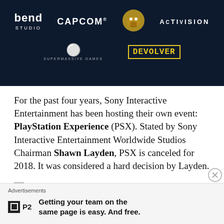[Figure (illustration): Dark blue banner showing game studio logos: Bend Studio, CAPCOM, a bulldog mascot logo, ACTIVISION on top row; Supermassive Games logo and DEVOLVER logo on bottom row.]
For the past four years, Sony Interactive Entertainment has been hosting their own event: PlayStation Experience (PSX). Stated by Sony Interactive Entertainment Worldwide Studios Chairman Shawn Layden, PSX is canceled for 2018. It was considered a hard decision by Layden.
[Figure (photo): Broken image placeholder with label: Image result for playstation expo]
Advertisements
Getting your team on the same page is easy. And free.